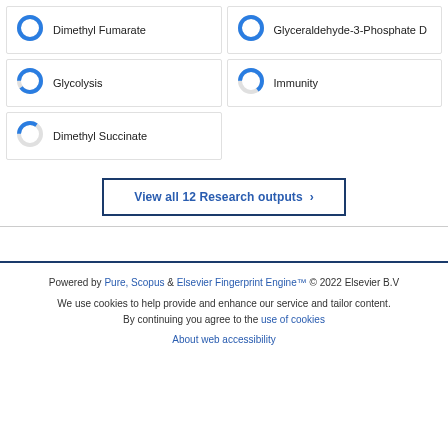[Figure (donut-chart): Donut chart ~100% filled, label: Dimethyl Fumarate]
[Figure (donut-chart): Donut chart ~100% filled, label: Glyceraldehyde-3-Phosphate D]
[Figure (donut-chart): Donut chart ~90% filled, label: Glycolysis]
[Figure (donut-chart): Donut chart ~65% filled, label: Immunity]
[Figure (donut-chart): Donut chart ~35% filled, label: Dimethyl Succinate]
View all 12 Research outputs
Powered by Pure, Scopus & Elsevier Fingerprint Engine™ © 2022 Elsevier B.V
We use cookies to help provide and enhance our service and tailor content. By continuing you agree to the use of cookies
About web accessibility